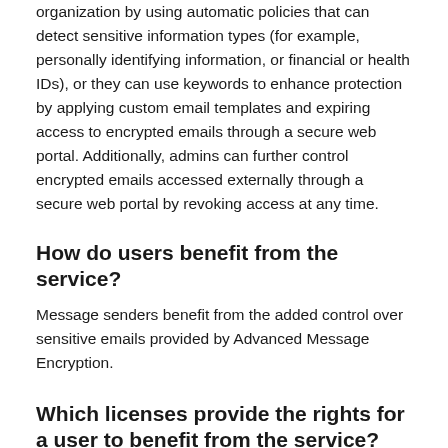organization by using automatic policies that can detect sensitive information types (for example, personally identifying information, or financial or health IDs), or they can use keywords to enhance protection by applying custom email templates and expiring access to encrypted emails through a secure web portal. Additionally, admins can further control encrypted emails accessed externally through a secure web portal by revoking access at any time.
How do users benefit from the service?
Message senders benefit from the added control over sensitive emails provided by Advanced Message Encryption.
Which licenses provide the rights for a user to benefit from the service?
Office 365 E5/A5/G5, Microsoft 365 E5/A5/G5, Microsoft